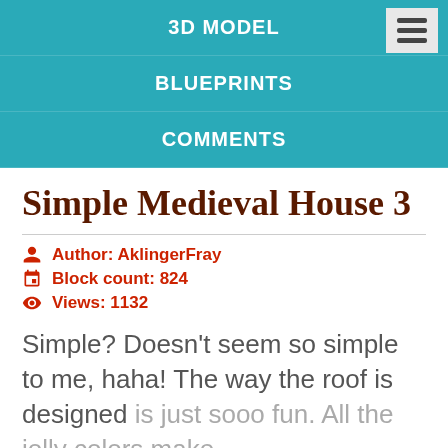3D MODEL
BLUEPRINTS
COMMENTS
Simple Medieval House 3
Author: AklingerFray
Block count: 824
Views: 1132
Simple? Doesn't seem so simple to me, haha! The way the roof is designed is just sooo fun. All the jolly colors make